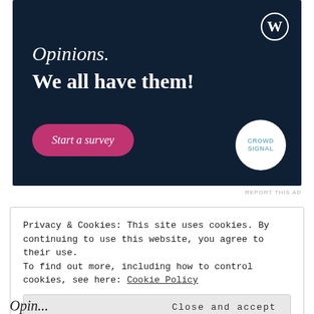[Figure (screenshot): WordPress/Crowdsignal advertisement banner with dark navy background. Shows 'Opinions. We all have them!' text, a pink 'Start a survey' button, WordPress logo top right, and Crowdsignal circular logo bottom right.]
REPORT THIS AD
Privacy & Cookies: This site uses cookies. By continuing to use this website, you agree to their use.
To find out more, including how to control cookies, see here: Cookie Policy
Close and accept